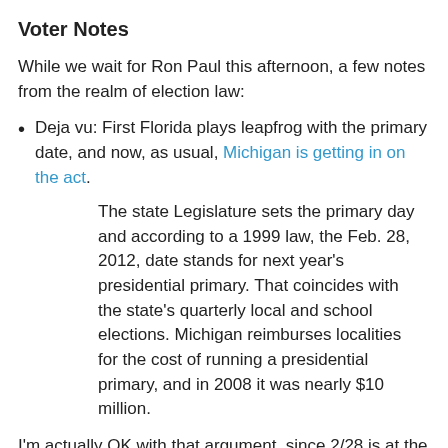Voter Notes
While we wait for Ron Paul this afternoon, a few notes from the realm of election law:
Deja vu: First Florida plays leapfrog with the primary date, and now, as usual, Michigan is getting in on the act.
The state Legislature sets the primary day and according to a 1999 law, the Feb. 28, 2012, date stands for next year's presidential primary. That coincides with the state's quarterly local and school elections. Michigan reimburses localities for the cost of running a presidential primary, and in 2008 it was nearly $10 million.
I'm actually OK with that argument, since 2/28 is at the very very end of the early window. But that's not what it's really about:
State party leaders say they want to challenge the influence of the traditional "early states" of